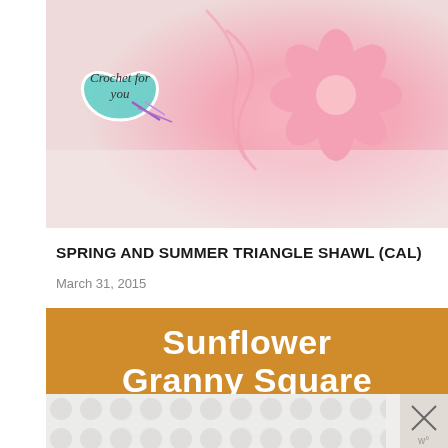[Figure (photo): Photo of pink crochet flower/work in progress on white surface, with 'Crochet for you' heart-shaped logo overlay in teal/mint with purple yarn graphic]
SPRING AND SUMMER TRIANGLE SHAWL (CAL)
March 31, 2015
[Figure (infographic): Orange/golden background card with white text reading 'Sunflower Granny Square' in bold and 'Free Crochet Pattern' in italic script, with crochet texture visible at bottom]
[Figure (other): Advertisement bar with gray dot pattern and close button with X and 'w°' logo]